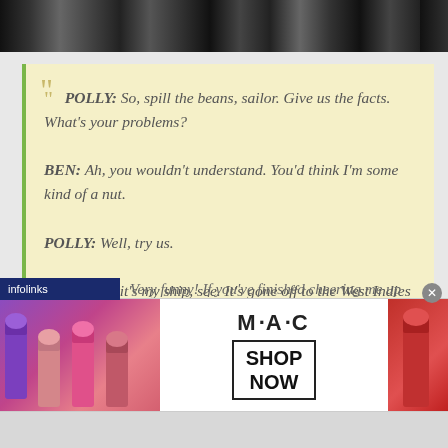[Figure (photo): Black and white cityscape photo strip at top of page]
POLLY: So, spill the beans, sailor. Give us the facts. What's your problems?
BEN: Ah, you wouldn't understand. You'd think I'm some kind of a nut.
POLLY: Well, try us.
BEN: Well, it's my ship, see. It's gone off to the West Indies and I've got a shore posting. In barracks for six months.
POLLY: And you'll miss the swaying palms, the white beaches, the blue sea
Very funny! If you've finished cheering me up
[Figure (advertisement): MAC cosmetics advertisement showing lipsticks with SHOP NOW button]